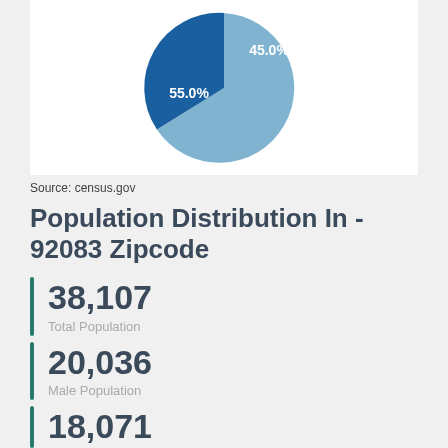[Figure (pie-chart): Population Distribution by Gender]
Source: census.gov
Population Distribution In - 92083 Zipcode
38,107
Total Population
20,036
Male Population
18,071